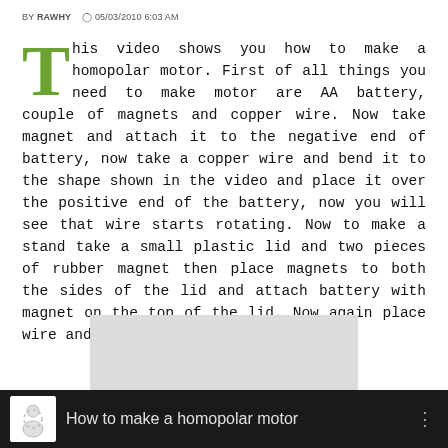BY RAWHY  05/03/2010 6:03 AM
This video shows you how to make a homopolar motor. First of all things you need to make motor are AA battery, couple of magnets and copper wire. Now take magnet and attach it to the negative end of battery, now take a copper wire and bend it to the shape shown in the video and place it over the positive end of the battery, now you will see that wire starts rotating. Now to make a stand take a small plastic lid and two pieces of rubber magnet then place magnets to both the sides of the lid and attach battery with magnet on the top of the lid. Now again place wire and it will start rotating.
[Figure (photo): Gray placeholder rectangle for an embedded image]
[Figure (screenshot): Video player bar with title 'How to make a homopolar motor' on dark background with circular logo icon]